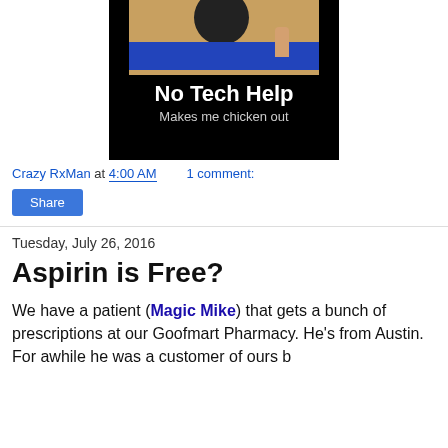[Figure (photo): A meme image with black background showing a rubber stamp above a blue strip with a finger, titled 'No Tech Help' with subtitle 'Makes me chicken out']
Crazy RxMan at 4:00 AM   1 comment:
Share
Tuesday, July 26, 2016
Aspirin is Free?
We have a patient (Magic Mike) that gets a bunch of prescriptions at our Goofmart Pharmacy. He's from Austin. For awhile he was a customer of ours b